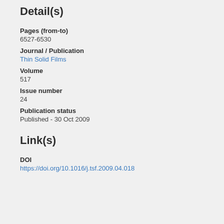Detail(s)
Pages (from-to)
6527-6530
Journal / Publication
Thin Solid Films
Volume
517
Issue number
24
Publication status
Published - 30 Oct 2009
Link(s)
DOI
https://doi.org/10.1016/j.tsf.2009.04.018